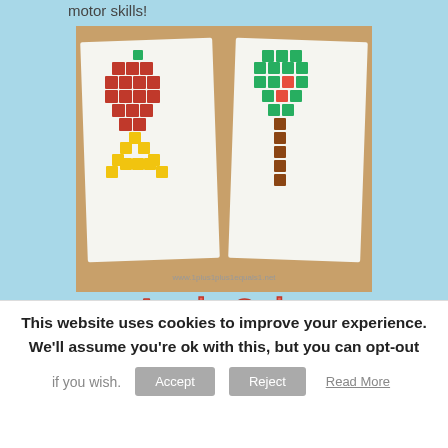motor skills!
[Figure (photo): Photo of Apple Cube Printables showing an apple shape made of red cubes, letter A made of yellow cubes on the left card, and a tree made of green and brown cubes on the right card, on a wooden surface. Watermark: www.1plus1plus1equals1.net]
Apple Cube Printables
Use with Color Cubes or Unifix Cubes
[Figure (illustration): Bottom icons: green grid pattern, red apple, grey grid outline]
This website uses cookies to improve your experience. We'll assume you're ok with this, but you can opt-out if you wish.
Accept
Reject
Read More